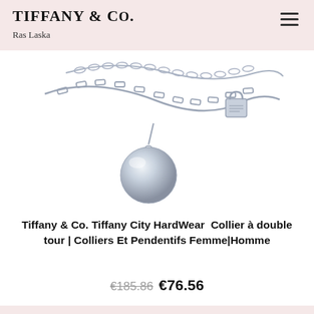TIFFANY & CO. Ras Laska
[Figure (photo): Silver double-strand chain necklace with a round ball pendant and a small padlock charm, Tiffany & Co. product photo on white background]
Tiffany & Co. Tiffany City HardWear  Collier à double tour | Colliers Et Pendentifs Femme|Homme
€185.86  €76.56